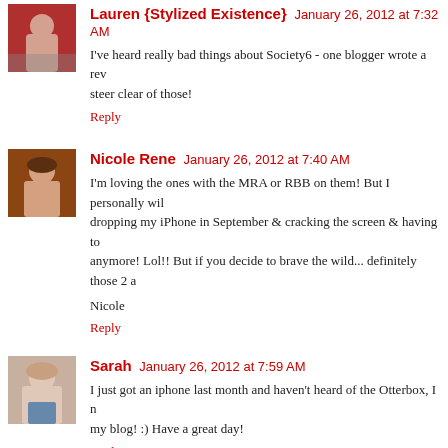Lauren {Stylized Existence} January 26, 2012 at 7:32 AM
I've heard really bad things about Society6 - one blogger wrote a review... steer clear of those!
Reply
Nicole Rene January 26, 2012 at 7:40 AM
I'm loving the ones with the MRA or RBB on them! But I personally will... dropping my iPhone in September & cracking the screen & having to... anymore! Lol!! But if you decide to brave the wild... definitely those 2 a...
Nicole
Reply
Sarah January 26, 2012 at 7:59 AM
I just got an iphone last month and haven't heard of the Otterbox, I n... my blog! :) Have a great day!
Reply
jillian :: cornflake dreams. January 26, 2012 at 8:12 AM
i'm surprised you dont have something a little more jazzy :) i like...